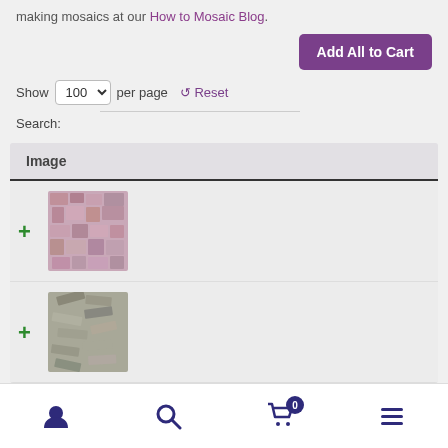making mosaics at our How to Mosaic Blog.
Add All to Cart
Show 100 per page ↺ Reset
Search:
| Image |
| --- |
| [mosaic tile image 1] |
| [mosaic tile image 2] |
[Figure (photo): Close-up photo of pinkish-purple mosaic tile pieces piled together]
[Figure (photo): Close-up photo of grey/taupe elongated mosaic tile pieces piled together]
User icon | Search icon | Cart (0) | Menu icon